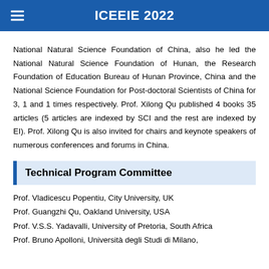ICEEIE 2022
National Natural Science Foundation of China, also he led the National Natural Science Foundation of Hunan, the Research Foundation of Education Bureau of Hunan Province, China and the National Science Foundation for Post-doctoral Scientists of China for 3, 1 and 1 times respectively. Prof. Xilong Qu published 4 books 35 articles (5 articles are indexed by SCI and the rest are indexed by EI). Prof. Xilong Qu is also invited for chairs and keynote speakers of numerous conferences and forums in China.
Technical Program Committee
Prof. Vladicescu Popentiu, City University, UK
Prof. Guangzhi Qu, Oakland University, USA
Prof. V.S.S. Yadavalli, University of Pretoria, South Africa
Prof. Bruno Apolloni, Università degli Studi di Milano,